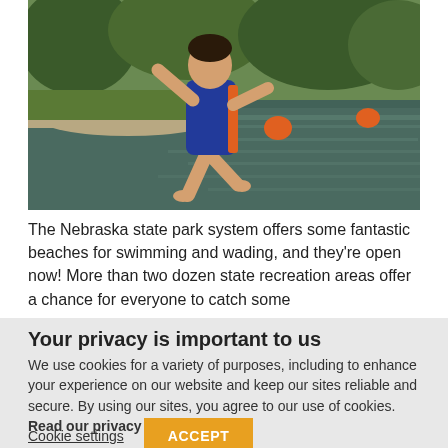[Figure (photo): A child in a blue and orange swimsuit jumping into a lake or pond. Green trees in background, orange buoys visible in the water.]
The Nebraska state park system offers some fantastic beaches for swimming and wading, and they're open now! More than two dozen state recreation areas offer a chance for everyone to catch some
Your privacy is important to us
We use cookies for a variety of purposes, including to enhance your experience on our website and keep our sites reliable and secure. By using our sites, you agree to our use of cookies. Read our privacy policy.